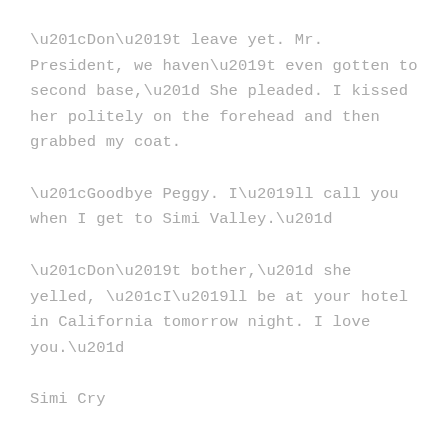“Don’t leave yet. Mr. President, we haven’t even gotten to second base,” She pleaded. I kissed her politely on the forehead and then grabbed my coat.
“Goodbye Peggy. I’ll call you when I get to Simi Valley.”
“Don’t bother,” she yelled, “I’ll be at your hotel in California tomorrow night. I love you.”
Simi Cry